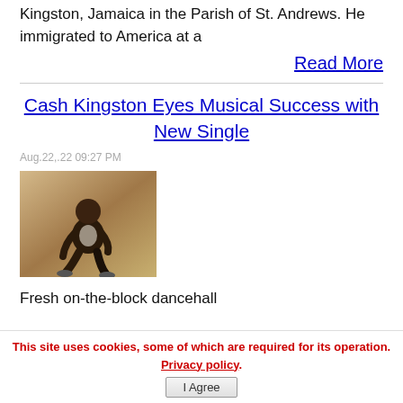Kingston, Jamaica in the Parish of St. Andrews. He immigrated to America at a
Read More
Cash Kingston Eyes Musical Success with New Single
Aug.22,.22 09:27 PM
[Figure (photo): A man crouching/squatting, photographed against a neutral background]
Fresh on-the-block dancehall
This site uses cookies, some of which are required for its operation. Privacy policy. I Agree